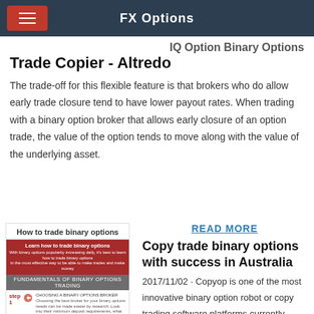FX Options
IQ Option Binary Options Trade Copier - Altredo
The trade-off for this flexible feature is that brokers who do allow early trade closure tend to have lower payout rates. When trading with a binary option broker that allows early closure of an option trade, the value of the option tends to move along with the value of the underlying asset.
[Figure (infographic): How to trade binary options infographic showing steps with icons and red/blue sections]
READ MORE
Copy trade binary options with success in Australia
2017/11/02 · Copyop is one of the most innovative binary option robot or copy trading software platforms currently available on the market. It allows you to set your own investments or to copy